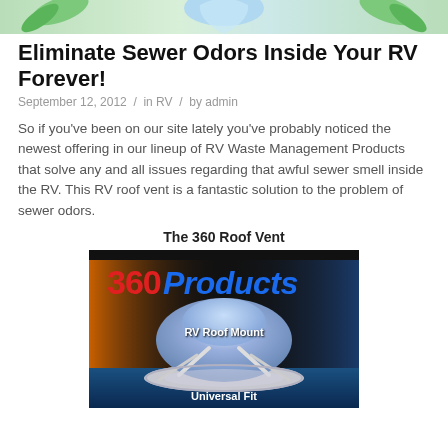[Header banner with leaf graphics]
Eliminate Sewer Odors Inside Your RV Forever!
September 12, 2012  /  in RV  /  by admin
So if you've been on our site lately you've probably noticed the newest offering in our lineup of RV Waste Management Products that solve any and all issues regarding that awful sewer smell inside the RV. This RV roof vent is a fantastic solution to the problem of sewer odors.
The 360 Roof Vent
[Figure (photo): Product photo of 360 Products RV Roof Mount vent - shows a silver/white dome-shaped roof vent against a dark background with orange and blue gradient. Text reads '360 Products' in red and blue, 'RV Roof Mount' and 'Universal Fit' in white.]